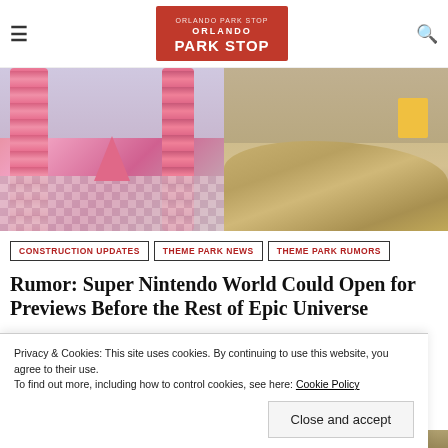Orlando Park Stop
[Figure (photo): Split photo: left side shows colorful pink pipe/tube structures with checkered floor (Nintendo World style), right side shows construction dirt mounds with heavy equipment]
CONSTRUCTION UPDATES
THEME PARK NEWS
THEME PARK RUMORS
Rumor: Super Nintendo World Could Open for Previews Before the Rest of Epic Universe
Privacy & Cookies: This site uses cookies. By continuing to use this website, you agree to their use. To find out more, including how to control cookies, see here: Cookie Policy
Close and accept